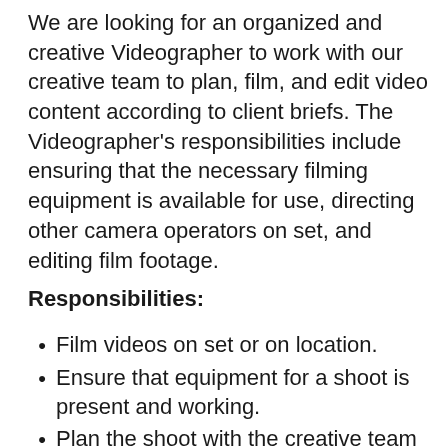We are looking for an organized and creative Videographer to work with our creative team to plan, film, and edit video content according to client briefs. The Videographer's responsibilities include ensuring that the necessary filming equipment is available for use, directing other camera operators on set, and editing film footage.
Responsibilities:
Film videos on set or on location.
Ensure that equipment for a shoot is present and working.
Plan the shoot with the creative team and the client.
Edit footage in post-production.
Direct other camera operators so that...